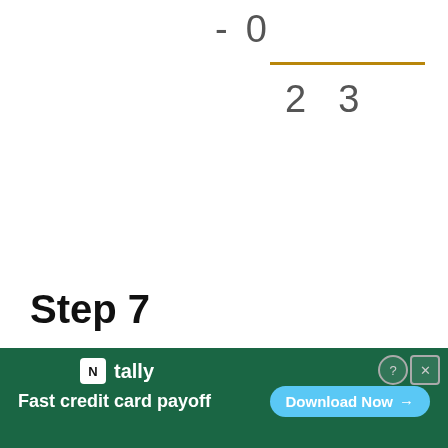Step 7
If we... the
[Figure (infographic): Tally app advertisement banner with green background, logo, subtitle 'Fast credit card payoff', and 'Download Now' button]